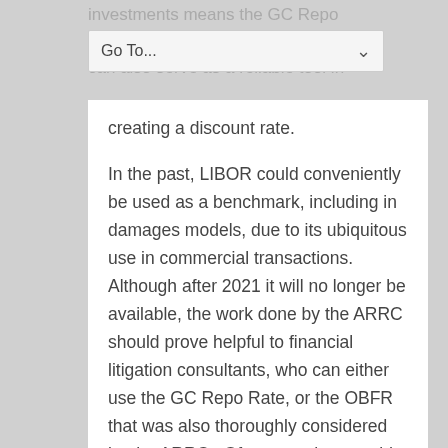investments means the GC Repo based on a robust repo trade, can also serve as a reliable tool in creating a discount rate.
Go To...
In the past, LIBOR could conveniently be used as a benchmark, including in damages models, due to its ubiquitous use in commercial transactions.  Although after 2021 it will no longer be available, the work done by the ARRC should prove helpful to financial litigation consultants, who can either use the GC Repo Rate, or the OBFR that was also thoroughly considered by the ARRC.  Of course, they would not be strictly limited to either benchmark.  As CBRE Group recently noted, there are numerous other liquid, transparent markets involving short-term securities that could also be used to derive an alternative benchmark to